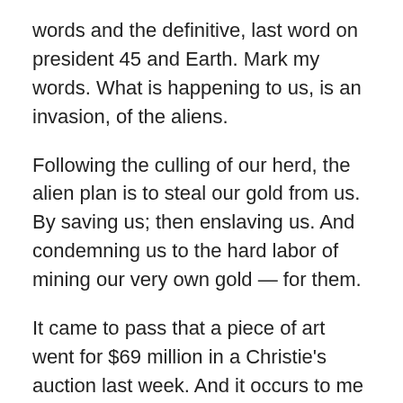words and the definitive, last word on president 45 and Earth. Mark my words. What is happening to us, is an invasion, of the aliens.
Following the culling of our herd, the alien plan is to steal our gold from us. By saving us; then enslaving us. And condemning us to the hard labor of mining our very own gold — for them.
It came to pass that a piece of art went for $69 million in a Christie's auction last week. And it occurs to me that Earth might well be saved with a cryptocurrency's, non fungible — tokens.
A piece of art work went for $69 million at auction at Christie's last week. And so it has come to pass; cryptocurrency's analog's, non fungible tokens may be, for